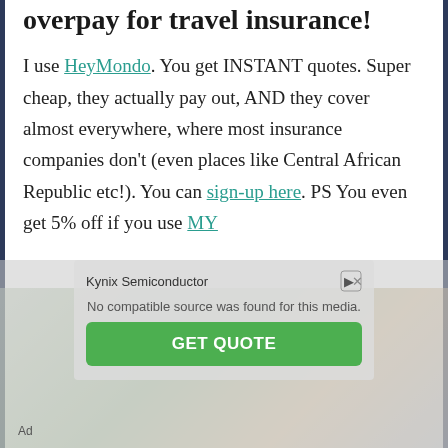overpay for travel insurance!
I use HeyMondo. You get INSTANT quotes. Super cheap, they actually pay out, AND they cover almost everywhere, where most insurance companies don't (even places like Central African Republic etc!). You can sign-up here. PS You even get 5% off if you use MY
[Figure (other): Advertisement overlay from Kynix Semiconductor with a 'GET QUOTE' button and 'No compatible source was found for this media' message. Background shows a blurred travel-related image.]